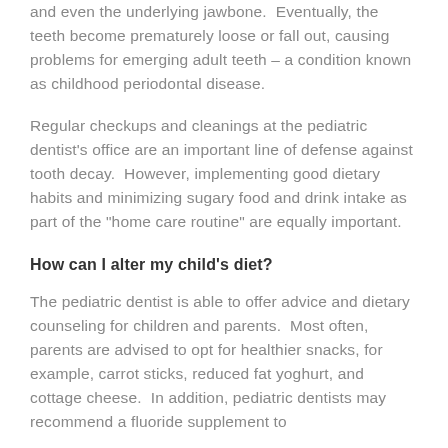and even the underlying jawbone.  Eventually, the teeth become prematurely loose or fall out, causing problems for emerging adult teeth – a condition known as childhood periodontal disease.
Regular checkups and cleanings at the pediatric dentist's office are an important line of defense against tooth decay.  However, implementing good dietary habits and minimizing sugary food and drink intake as part of the "home care routine" are equally important.
How can I alter my child's diet?
The pediatric dentist is able to offer advice and dietary counseling for children and parents.  Most often, parents are advised to opt for healthier snacks, for example, carrot sticks, reduced fat yoghurt, and cottage cheese.  In addition, pediatric dentists may recommend a fluoride supplement to